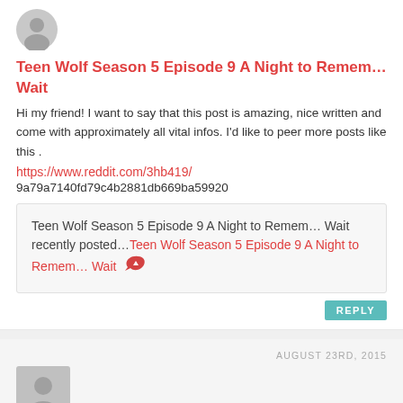[Figure (illustration): Grey circular avatar placeholder icon with person silhouette]
Teen Wolf Season 5 Episode 9 A Night to Remem… Wait
Hi my friend! I want to say that this post is amazing, nice written and come with approximately all vital infos. I'd like to peer more posts like this .
https://www.reddit.com/3hb419/
9a79a7140fd79c4b2881db669ba59920
Teen Wolf Season 5 Episode 9 A Night to Remem… Wait recently posted…Teen Wolf Season 5 Episode 9 A Night to Remem… Wait
REPLY
AUGUST 23RD, 2015
[Figure (illustration): Grey square avatar placeholder icon with person silhouette]
Shameless US S5E4 A Night to Remem… Wait